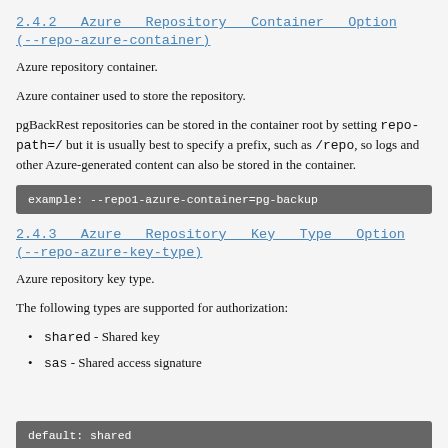2.4.2   Azure   Repository   Container   Option (--repo-azure-container)
Azure repository container.
Azure container used to store the repository.
pgBackRest repositories can be stored in the container root by setting repo-path=/ but it is usually best to specify a prefix, such as /repo, so logs and other Azure-generated content can also be stored in the container.
example: --repo1-azure-container=pg-backup
2.4.3   Azure   Repository   Key   Type   Option (--repo-azure-key-type)
Azure repository key type.
The following types are supported for authorization:
shared - Shared key
sas - Shared access signature
default: shared